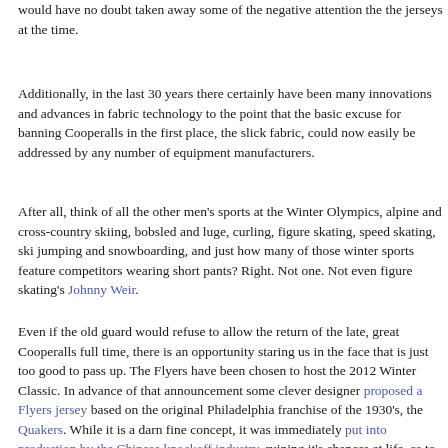would have no doubt taken away some of the negative attention the the jerseys at the time.
Additionally, in the last 30 years there certainly have been many innovations and advances in fabric technology to the point that the basic excuse for banning Cooperalls in the first place, the slick fabric, could now easily be addressed by any number of equipment manufacturers.
After all, think of all the other men's sports at the Winter Olympics, alpine and cross-country skiing, bobsled and luge, curling, figure skating, speed skating, ski jumping and snowboarding, and just how many of those winter sports feature competitors wearing short pants? Right. Not one. Not even figure skating's Johnny Weir.
Even if the old guard would refuse to allow the return of the late, great Cooperalls full time, there is an opportunity staring us in the face that is just too good to pass up. The Flyers have been chosen to host the 2012 Winter Classic. In advance of that announcement some clever designer proposed a Flyers jersey based on the original Philadelphia franchise of the 1930's, the Quakers. While it is a darn fine concept, it was immediately put into production by the Chinese knockoff industry, ruining it's chances at life, as to now select that design would be to validate the bootleggers already extensive production run which has now flooded the market.